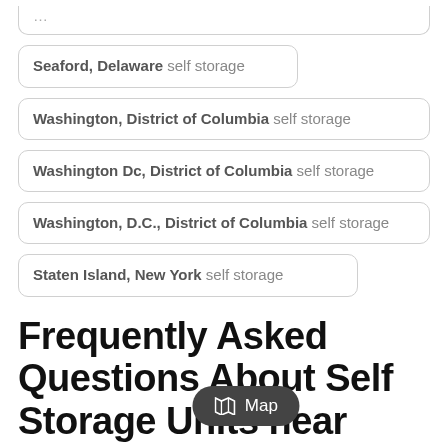Seaford, Delaware self storage
Washington, District of Columbia self storage
Washington Dc, District of Columbia self storage
Washington, D.C., District of Columbia self storage
Staten Island, New York self storage
Frequently Asked Questions About Self Storage Units near Newark, DE